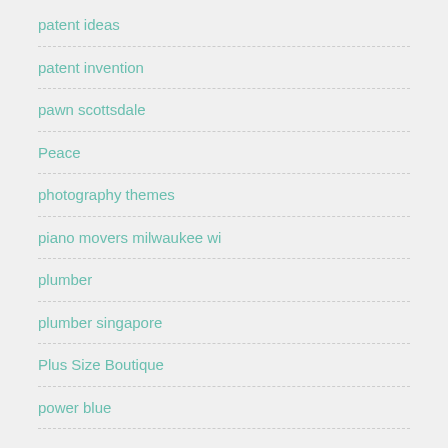patent ideas
patent invention
pawn scottsdale
Peace
photography themes
piano movers milwaukee wi
plumber
plumber singapore
Plus Size Boutique
power blue